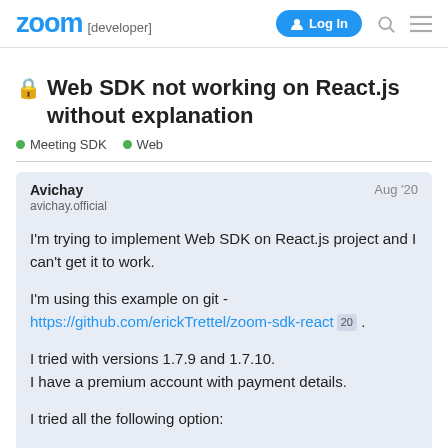zoom [developer] | Log In
🔒 Web SDK not working on React.js without explanation
● Meeting SDK  ● Web
Avichay
avichay.official
Aug '20

I'm trying to implement Web SDK on React.js project and I can't get it to work.

I'm using this example on git - https://github.com/erickTrettel/zoom-sdk-react 20 .

I tried with versions 1.7.9 and 1.7.10.
I have a premium account with payment details.

I tried all the following option: